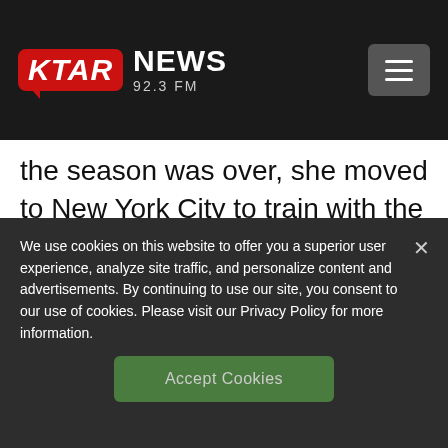KTAR NEWS 92.3 FM
the season was over, she moved to New York City to train with the U.S. Women's Epee team.
We use cookies on this website to offer you a superior user experience, analyze site traffic, and personalize content and advertisements. By continuing to use our site, you consent to our use of cookies. Please visit our Privacy Policy for more information.
Accept Cookies